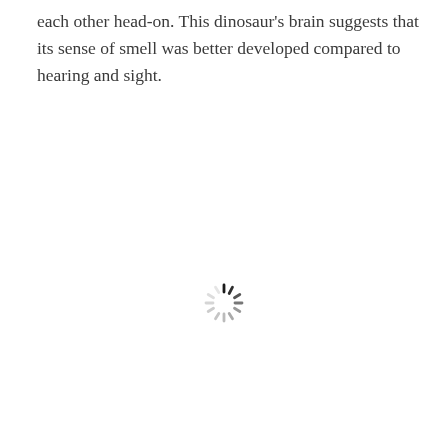each other head-on. This dinosaur's brain suggests that its sense of smell was better developed compared to hearing and sight.
[Figure (other): A loading spinner icon (circular arrangement of short radial dashes, dark at top fading to light gray) centered in the lower half of the page.]